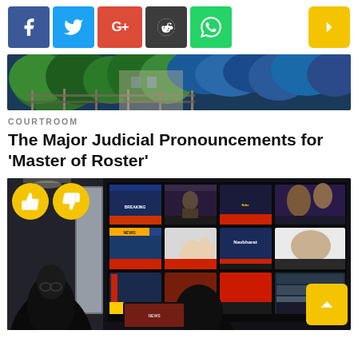[Figure (other): Social media sharing buttons: Facebook (blue), Twitter (light blue), Google+ (red), Reddit (dark grey), WhatsApp (green), and a yellow next arrow button on the right]
[Figure (photo): Top hero image showing a colorful garden/floral scene with green trees, blue flowers, and a fence]
COURTROOM
The Major Judicial Pronouncements for 'Master of Roster'
[Figure (photo): Newsroom photo showing a person watching a wall of multiple TV screens displaying various news channels. Thumbs up and thumbs down reaction buttons overlay the top-left. A yellow up-arrow button is in the bottom-right corner.]